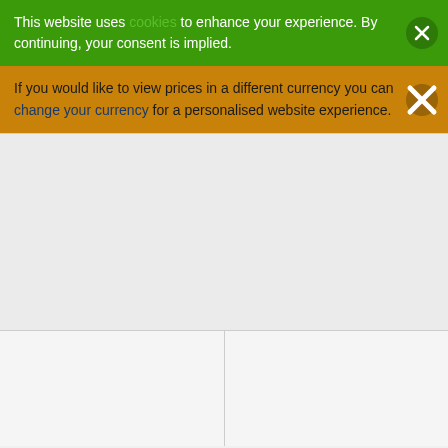This website uses cookies to enhance your experience. By continuing, your consent is implied.
If you would like to view prices in a different currency you can change your currency for a personalised website experience.